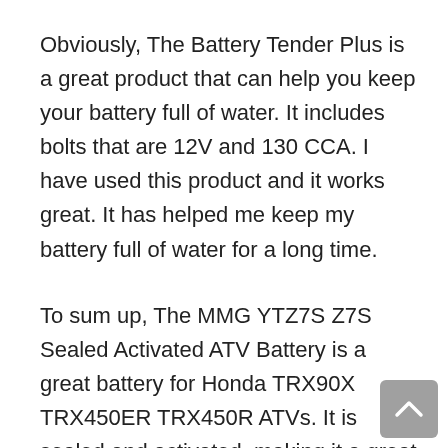Obviously, The Battery Tender Plus is a great product that can help you keep your battery full of water. It includes bolts that are 12V and 130 CCA. I have used this product and it works great. It has helped me keep my battery full of water for a long time.
To sum up, The MMG YTZ7S Z7S Sealed Activated ATV Battery is a great battery for Honda TRX90X TRX450ER TRX450R ATVs. It is sealed and activated, making it a great choice for those who want a reliable battery that is easy to install